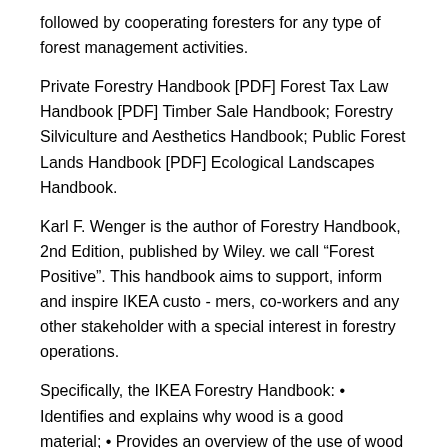followed by cooperating foresters for any type of forest management activities.
Private Forestry Handbook [PDF] Forest Tax Law Handbook [PDF] Timber Sale Handbook; Forestry Silviculture and Aesthetics Handbook; Public Forest Lands Handbook [PDF] Ecological Landscapes Handbook.
Karl F. Wenger is the author of Forestry Handbook, 2nd Edition, published by Wiley. we call “Forest Positive”. This handbook aims to support, inform and inspire IKEA custo - mers, co-workers and any other stakeholder with a special interest in forestry operations.
Specifically, the IKEA Forestry Handbook: • Identifies and explains why wood is a good material; • Provides an overview of the use of wood in the IKEA range. Forestry Handbook book. Read reviews from world’s largest community for readers.
A revised and reorganized practical reference for the working field fore Format: Hardcover. Forestry Handbook Hardcover – January 1, by Reginald Dunderdale Forbes (Author) out of 5 stars 7 ratings. See all